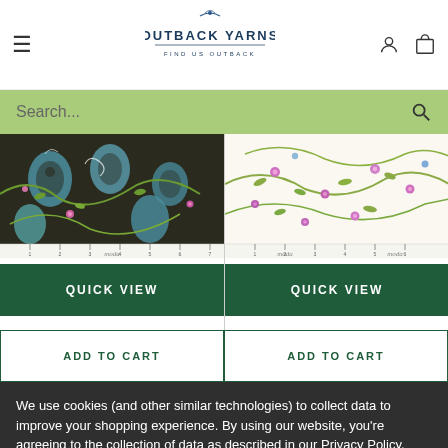Outback Yarns — Find Us Outback
Search...
[Figure (photo): Dark floral fabric with teal paisley and pink flowers on dark background, shown with ruler]
[Figure (photo): Light cream fabric with green vines and pink/purple flowers, shown with ruler]
QUICK VIEW
QUICK VIEW
ADD TO CART
ADD TO CART
We use cookies (and other similar technologies) to collect data to improve your shopping experience. By using our website, you're agreeing to the collection of data as described in our Privacy Policy.
Settings
Reject all
Accept All Cookies